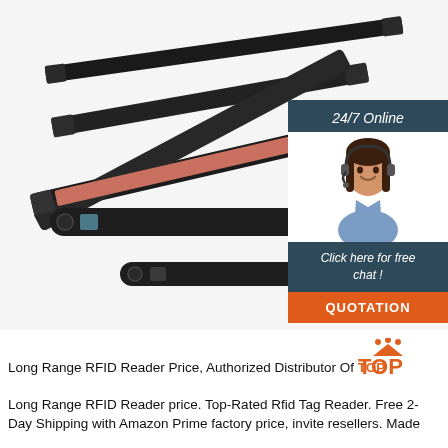[Figure (photo): Product photo showing multiple long black RFID reader/tag antennas or labels arranged at angles on a white background. One appears open showing internal components with red circuit board visible. Two smaller cylindrical RFID tags shown at bottom.]
[Figure (infographic): Customer service chat widget showing '24/7 Online' header, photo of female customer service agent with headset, 'Click here for free chat!' text, and orange QUOTATION button.]
[Figure (logo): TOP logo with orange triangle/mountain icon above the word TOP in orange capital letters.]
Long Range RFID Reader Price, Authorized Distributor Of TOP
Long Range RFID Reader price. Top-Rated Rfid Tag Reader. Free 2-Day Shipping with Amazon Prime factory price, invite resellers. Made